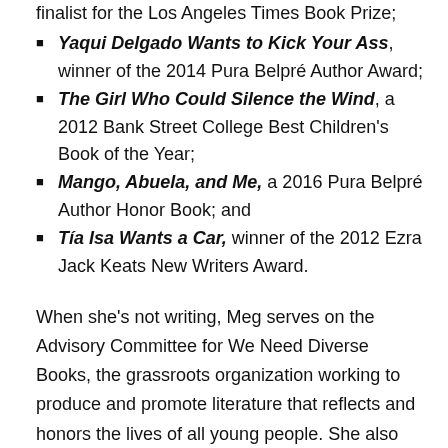finalist for the Los Angeles Times Book Prize;
Yaqui Delgado Wants to Kick Your Ass, winner of the 2014 Pura Belpré Author Award;
The Girl Who Could Silence the Wind, a 2012 Bank Street College Best Children's Book of the Year;
Mango, Abuela, and Me, a 2016 Pura Belpré Author Honor Book; and
Tía Isa Wants a Car, winner of the 2012 Ezra Jack Keats New Writers Award.
When she's not writing, Meg serves on the Advisory Committee for We Need Diverse Books, the grassroots organization working to produce and promote literature that reflects and honors the lives of all young people. She also works on community projects that support girls, Latinx youth, and/or literacy. She is a board member of the Library of Congress Literacy Awards, a faculty member of